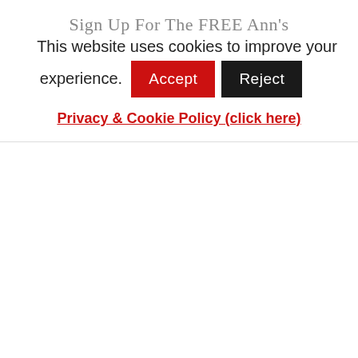Sign Up For The FREE Ann's
This website uses cookies to improve your experience.
Accept | Reject
Privacy & Cookie Policy (click here)